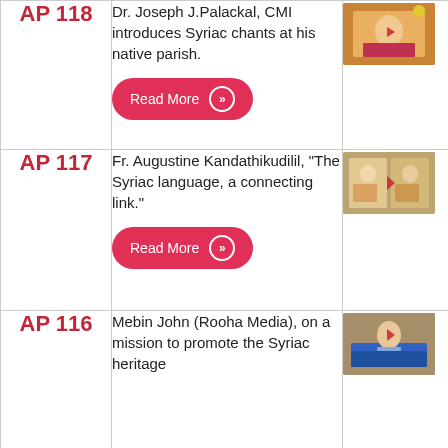AP 118 - Dr. Joseph J.Palackal, CMI introduces Syriac chants at his native parish. Read More
[Figure (photo): Thumbnail image for AP 118 showing a person in religious garments]
AP 117 - Fr. Augustine Kandathikudilil, "The Syriac language, a connecting link." Read More
[Figure (photo): Thumbnail image for AP 117 showing people in a church setting]
AP 116 - Mebin John (Rooha Media), on a mission to promote the Syriac heritage